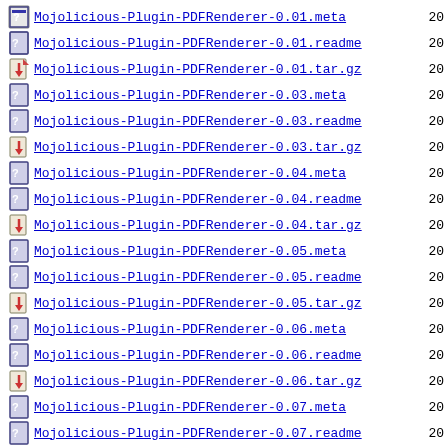Mojolicious-Plugin-PDFRenderer-0.01.meta
Mojolicious-Plugin-PDFRenderer-0.01.readme
Mojolicious-Plugin-PDFRenderer-0.01.tar.gz
Mojolicious-Plugin-PDFRenderer-0.03.meta
Mojolicious-Plugin-PDFRenderer-0.03.readme
Mojolicious-Plugin-PDFRenderer-0.03.tar.gz
Mojolicious-Plugin-PDFRenderer-0.04.meta
Mojolicious-Plugin-PDFRenderer-0.04.readme
Mojolicious-Plugin-PDFRenderer-0.04.tar.gz
Mojolicious-Plugin-PDFRenderer-0.05.meta
Mojolicious-Plugin-PDFRenderer-0.05.readme
Mojolicious-Plugin-PDFRenderer-0.05.tar.gz
Mojolicious-Plugin-PDFRenderer-0.06.meta
Mojolicious-Plugin-PDFRenderer-0.06.readme
Mojolicious-Plugin-PDFRenderer-0.06.tar.gz
Mojolicious-Plugin-PDFRenderer-0.07.meta
Mojolicious-Plugin-PDFRenderer-0.07.readme